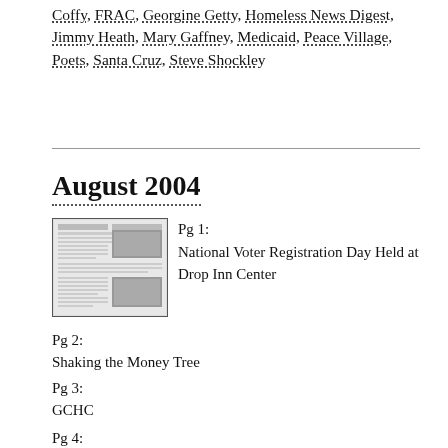Coffy, FRAC, Georgine Getty, Homeless News Digest, Jimmy Heath, Mary Gaffney, Medicaid, Peace Village, Poets, Santa Cruz, Steve Shockley
August 2004
[Figure (other): Thumbnail image of a newspaper page]
Pg 1: National Voter Registration Day Held at Drop Inn Center
Pg 2: Shaking the Money Tree
Pg 3: GCHC
Pg 4: